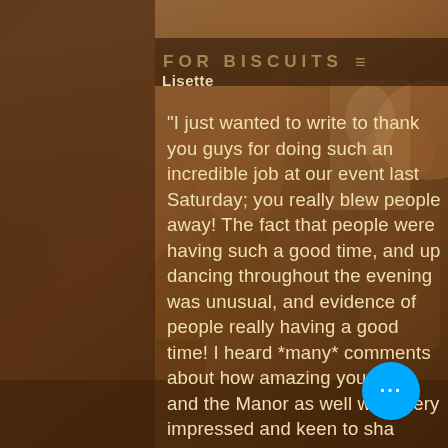[Figure (photo): Sepia-toned vintage photograph of a band/music group at an event, with musicians playing instruments including a tuba, people dancing, and a painting on the wall in the background.]
FOR BISCUITS
Lisette
"I just wanted to write to thank you guys for doing such an incredible job at our event last Saturday; you really blew people away! The fact that people were having such a good time, and up dancing throughout the evening was unusual, and evidence of people really having a good time! I heard *many* comments about how amazing you were, and the Manor as well were very impressed and keen to share your information with others